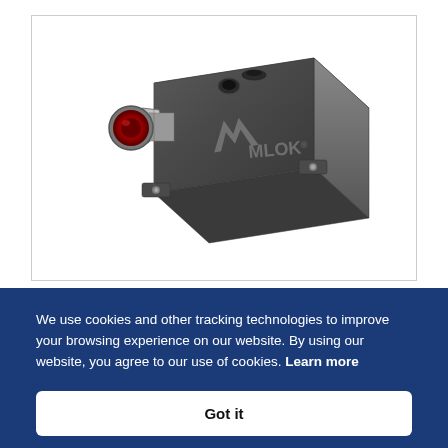[Figure (photo): 3D rendering of an AMLOK brand industrial hydraulic or pneumatic valve/fitting component. The device is a dark grey rectangular metal block with a red circular opening on the front face, a grey hexagonal nut fitting, mounting flanges with bolts, a small button/port on top, and the AMLOK logo on the side.]
We use cookies and other tracking technologies to improve your browsing experience on our website. By using our website, you agree to our use of cookies. Learn more
Got it